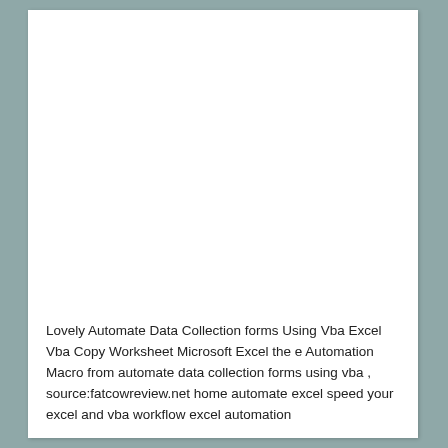Lovely Automate Data Collection forms Using Vba Excel Vba Copy Worksheet Microsoft Excel the e Automation Macro from automate data collection forms using vba , source:fatcowreview.net home automate excel speed your excel and vba workflow excel automation